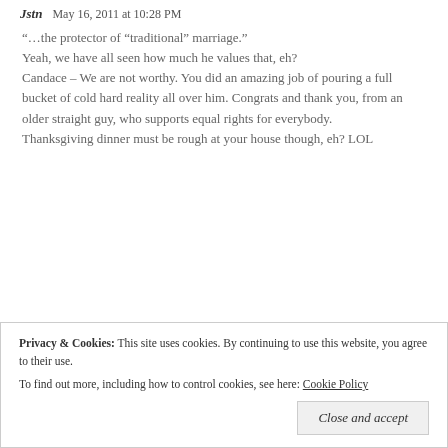Jstn   May 16, 2011 at 10:28 PM
“…the protector of “traditional” marriage.”
Yeah, we have all seen how much he values that, eh?
Candace – We are not worthy. You did an amazing job of pouring a full bucket of cold hard reality all over him. Congrats and thank you, from an older straight guy, who supports equal rights for everybody.
Thanksgiving dinner must be rough at your house though, eh? LOL
Privacy & Cookies: This site uses cookies. By continuing to use this website, you agree to their use.
To find out more, including how to control cookies, see here: Cookie Policy